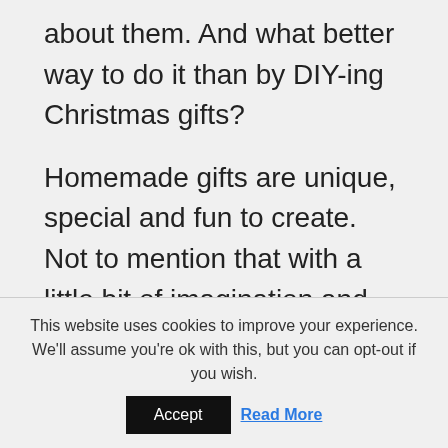about them. And what better way to do it than by DIY-ing Christmas gifts?
Homemade gifts are unique, special and fun to create. Not to mention that with a little bit of imagination and creative touch you can make these presents actual pieces of art that will impress everyone, even the pickiest gift
This website uses cookies to improve your experience. We'll assume you're ok with this, but you can opt-out if you wish.